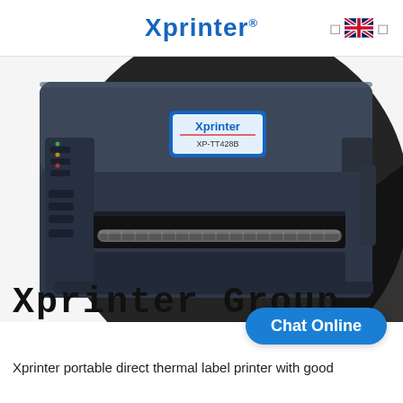Xprinter®
[Figure (photo): Photo of Xprinter XP-TT428B industrial label printer, dark gray/navy color, showing front panel with control buttons on left side and paper feed slot in center, with Xprinter brand label on top. Below the photo is text 'Xprinter Group' in large monospaced font. A blue 'Chat Online' button is overlaid in the bottom right of the image area.]
Xprinter portable direct thermal label printer with good